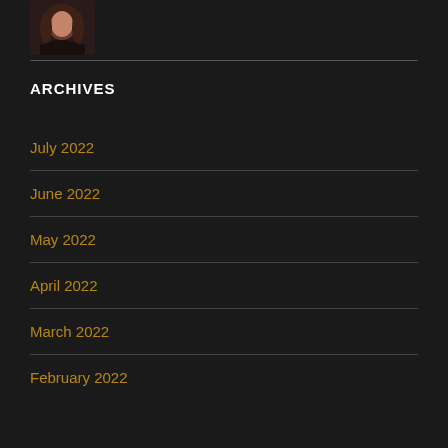[Figure (photo): Small circular/rounded avatar photo of a woman with long dark hair against a dark background]
ARCHIVES
July 2022
June 2022
May 2022
April 2022
March 2022
February 2022